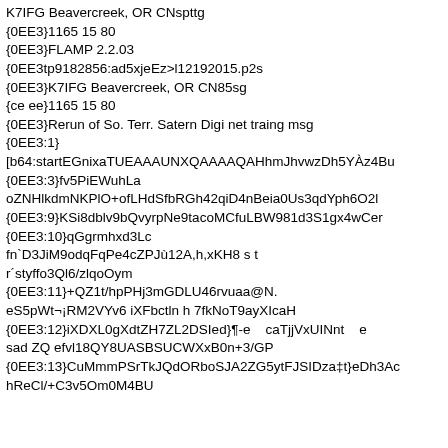K7IFG Beavercreek, OR CNspttg
{0EE3}1165 15 80
{0EE3}FLAMP 2.2.03
{0EE3tp9182856:ad5xjeEz>l12192015.p2s
{0EE3}K7IFG Beavercreek, OR CN85sg
{ce ee}1165 15 80
{0EE3}Rerun of So. Terr. Satern Digi net traing msg
{0EE3:1}
[b64:startEGnixaTUEAAAUNXQAAAAQAHhmJhvwzDh5YÀz4Bu
{0EE3:3}fv5PiEWuhLa
oZNHlkdmNKPlO+ofLHdSfbRGh42qiD4nBeia0Us3qdYph6O2l
{0EE3:9}KSi8dblv9bQvyrpNe9tacoMCfuLBW981d3S1gx4wCer
{0EE3:10}qGgrmhxd3Lc
fn`D3JiM9odqFqPe4cZPJù12A,h,xKH8 s t
r´styffo3Ql6/zlqoOym
{0EE3:11}+QZ1t/hpPHj3mGDLU46rvuaa@N.
eS5pWt¬¡RM2VYv6 iXFbctln h 7fkNoT9ayXIcaH
{0EE3:12}iXDXL0gXdtZH7ZL2DSIed}¶-e    caTjjVxUINnt    e
sad ZQ efvl18QY8UASBSUCWXxB0n+3/GP
{0EE3:13}CuMmmPSrTkJQdORboSJA2ZG5ytFJSIDza‡t}eDh3Ac
hReCl/+C3v5Om0M4BU